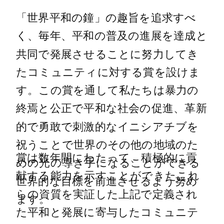「世界平和の鐘」の趣旨を追求すべく、毎年、平和の普及の進展を達成と共同で発展させることに努力してきたコミュニティに対する賞を設けます。この賞を通して私たちは暴力の終焉と公正で平和な社会の促進、革新的で勇敢で刺激的なイニシアチブを祝うことで世界のその他の地域のための光の導き手になることができる世界的な目標を前進させるよう努めます。
賞は数年間にわたって、積極的に貢献する能力を示すことができたこれらの資質を実証した上記で定義された平和と発展に寄与したコミュニティに与えられます。この賞は世界平和の鐘のコミュニティ